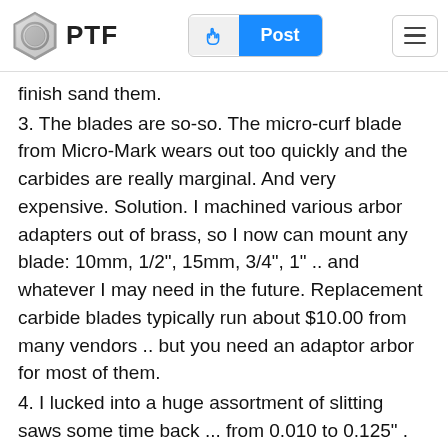PTF | Post
finish sand them.
3. The blades are so-so. The micro-curf blade from Micro-Mark wears out too quickly and the carbides are really marginal. And very expensive. Solution. I machined various arbor adapters out of brass, so I now can mount any blade: 10mm, 1/2", 15mm, 3/4", 1" .. and whatever I may need in the future. Replacement carbide blades typically run about $10.00 from many vendors .. but you need an adaptor arbor for most of them.
4. I lucked into a huge assortment of slitting saws some time back ... from 0.010 to 0.125" . Some with up to 300 teeth. All 3.5" under. Using these are great for really thin stuff and also much better than using a